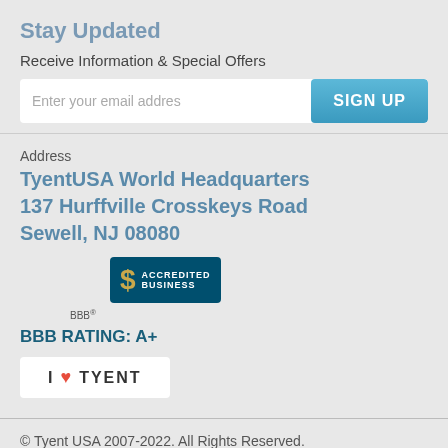Stay Updated
Receive Information & Special Offers
Enter your email address
SIGN UP
Address
TyentUSA World Headquarters
137 Hurffville Crosskeys Road
Sewell, NJ 08080
[Figure (logo): BBB Accredited Business badge with dollar sign logo]
BBB RATING: A+
I ❤ TYENT
© Tyent USA 2007-2022. All Rights Reserved.
[Figure (infographic): Social media icons: Facebook, Instagram, LinkedIn, Pinterest, Twitter, YouTube]
LEAVE A MESSAGE